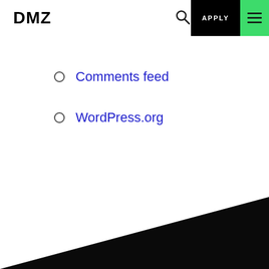DMZ | APPLY
Comments feed
WordPress.org